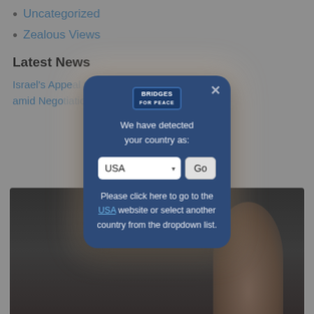Uncategorized
Zealous Views
Latest News
Israel's Appeal... Continue amid Negotiations...
[Figure (screenshot): Modal dialog from Bridges for Peace website detecting user country as USA, with dropdown selector and Go button, plus instruction to click to go to USA website or select another country from dropdown list.]